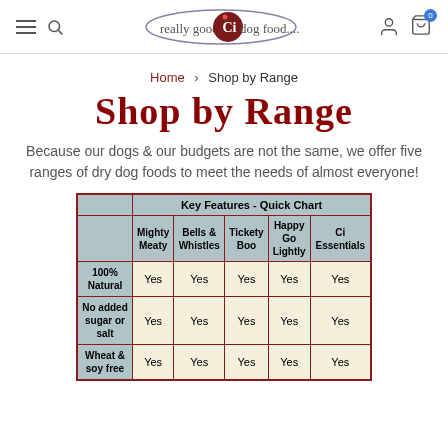really good Ci dog food....
Home > Shop by Range
Shop by Range
Because our dogs & our budgets are not the same, we offer five ranges of dry dog foods to meet the needs of almost everyone!
|  | Key Features - Quick Chart |  |  |  |  |
| --- | --- | --- | --- | --- | --- |
|  | Mighty Meaty | Bells & Whistles | Tickety Boo | Happy Go Lightly | Ci Essentials |
| 100% Natural | Yes | Yes | Yes | Yes | Yes |
| No added sugar or salt | Yes | Yes | Yes | Yes | Yes |
| Wheat & soy free | Yes | Yes | Yes | Yes | Yes |